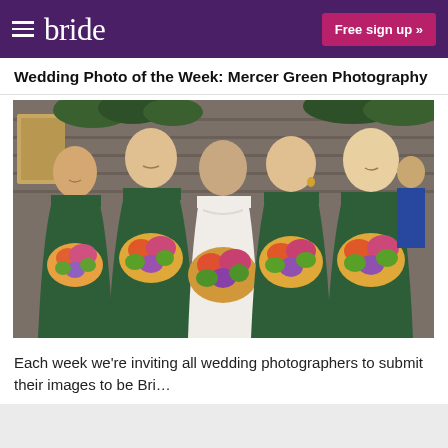bride   Free sign up »
Wedding Photo of the Week: Mercer Green Photography
[Figure (photo): A bride in white lace gown surrounded by four bridesmaids in dark green dresses, all holding colorful floral bouquets with orange, pink, and purple flowers, standing outside a rustic wooden building.]
Each week we're inviting all wedding photographers to submit their images to be Bri...